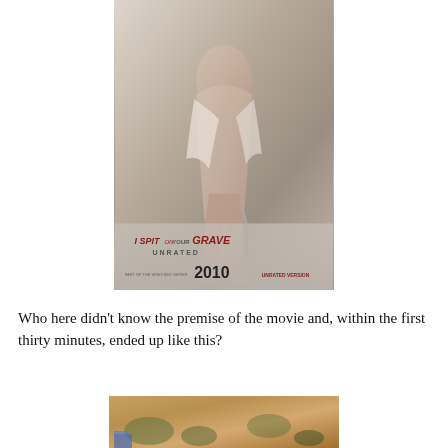[Figure (photo): Movie poster for 'I Spit on Your Grave' (Unrated), showing a figure from behind, year 2010 at bottom]
Who here didn't know the premise of the movie and, within the first thirty minutes, ended up like this?
[Figure (photo): Partial image at bottom of page, appears to be a textured brownish surface]